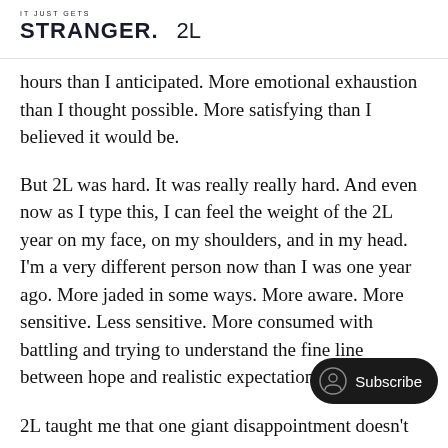IT JUST GETS STRANGER.   2L
hours than I anticipated. More emotional exhaustion than I thought possible. More satisfying than I believed it would be.
But 2L was hard. It was really really hard. And even now as I type this, I can feel the weight of the 2L year on my face, on my shoulders, and in my head. I'm a very different person now than I was one year ago. More jaded in some ways. More aware. More sensitive. Less sensitive. More consumed with battling and trying to understand the fine line between hope and realistic expectations.
2L taught me that one giant disappointment doesn't